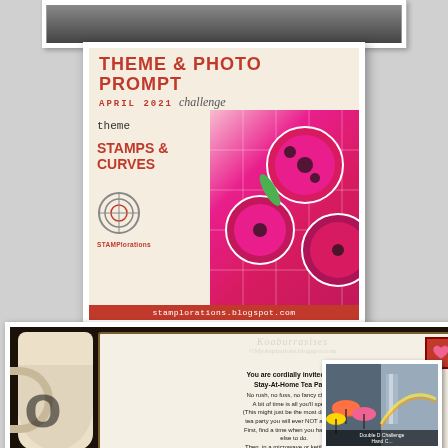[Figure (photo): Partially visible dark photo at the top of the collage]
[Figure (infographic): Theme & Photo Prompt Challenge card for April 2021. Theme: Stamps & Curves. STAMPlorations. stamplorations.blogspot.com. Shows pink circular craft items on right side.]
[Figure (photo): Tea party invitation card inside a mug shape on dark background. Text reads: You are cordially invited to a Stay-At-Home Tea Party. No rush, no fuss, no fancy clothes. A bit of time is all you'll spend. (This might just be the most delightful tea party you will ever NOT attend!) First, find a time when you have little else to do. Then, in a microwave or kettle, heat some water for the brew. Next, grab a few things that give you...]
[Figure (photo): Double D Challenge photo showing colorful umbrellas and waterfall with rainbow, bottom right corner]